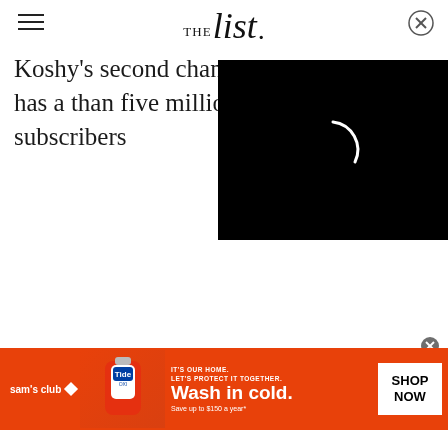THE list.
Koshy's second channel has a than five million subscribers
[Figure (screenshot): Black video player overlay with white circular loading spinner on dark background, with X close button in top right corner]
[Figure (screenshot): Sam's Club advertisement banner: orange background with Tide detergent bottle image, text reading "IT'S OUR HOME. LET'S PROTECT IT TOGETHER. Wash in cold. Save up to $150 a year*" with SHOP NOW button]